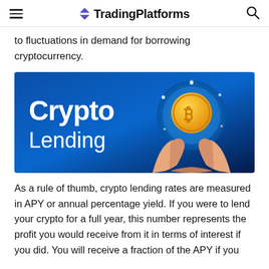TradingPlatforms
to fluctuations in demand for borrowing cryptocurrency.
[Figure (illustration): Crypto Lending banner image with blue gradient background. Left side shows bold white text 'Crypto Lending'. Right side shows illustrated hands holding a glowing sphere with a gold Bitcoin coin on top, surrounded by blue stars/sparkles.]
As a rule of thumb, crypto lending rates are measured in APY or annual percentage yield. If you were to lend your crypto for a full year, this number represents the profit you would receive from it in terms of interest if you did. You will receive a fraction of the APY if you